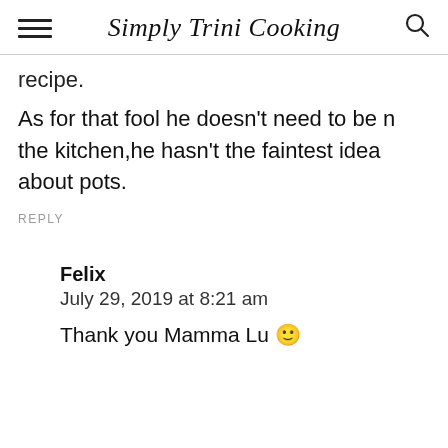Simply Trini Cooking
recipe.
As for that fool he doesn't need to be n the kitchen,he hasn't the faintest idea about pots.
REPLY
Felix
July 29, 2019 at 8:21 am
Thank you Mamma Lu 🙂